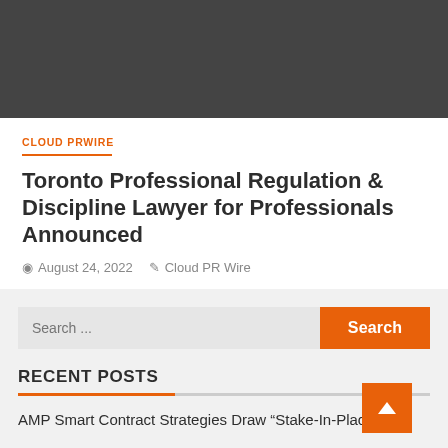[Figure (other): Dark grey header banner image area]
CLOUD PRWIRE
Toronto Professional Regulation & Discipline Lawyer for Professionals Announced
August 24, 2022   Cloud PR Wire
[Figure (other): Search bar with orange Search button]
RECENT POSTS
AMP Smart Contract Strategies Draw “Stake-In-Place”